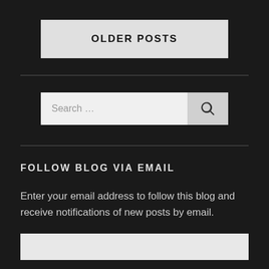OLDER POSTS
FOLLOW BLOG VIA EMAIL
Enter your email address to follow this blog and receive notifications of new posts by email.